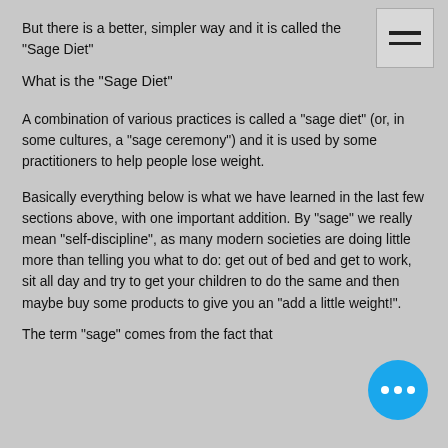But there is a better, simpler way and it is called the "Sage Diet"
What is the "Sage Diet"
A combination of various practices is called a "sage diet" (or, in some cultures, a "sage ceremony") and it is used by some practitioners to help people lose weight.
Basically everything below is what we have learned in the last few sections above, with one important addition. By "sage" we really mean "self-discipline", as many modern societies are doing little more than telling you what to do: get out of bed and get to work, sit all day and try to get your children to do the same and then maybe buy some products to give you an "add a little weight!".
The term "sage" comes from the fact that